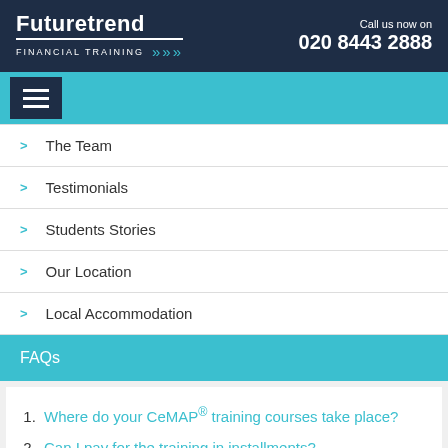Futuretrend Financial Training — Call us now on 020 8443 2888
[Figure (screenshot): Navigation hamburger menu button on teal nav bar]
> The Team
> Testimonials
> Students Stories
> Our Location
> Local Accommodation
FAQs
1. Where do your CeMAP® training courses take place?
2. Can I pay for the training in installments?
3. (partially visible)